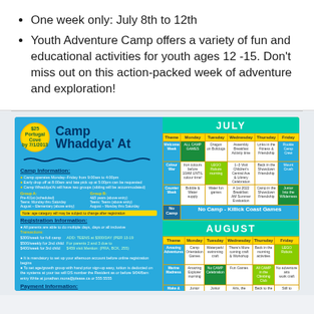One week only: July 8th to 12th
Youth Adventure Camp offers a variety of fun and educational activities for youth ages 12 -15. Don't miss out on this action-packed week of adventure and exploration!
[Figure (infographic): Camp Whaddya' At promotional flyer showing camp information, registration details, payment information, and a July-August calendar schedule with weekly themes and activities.]